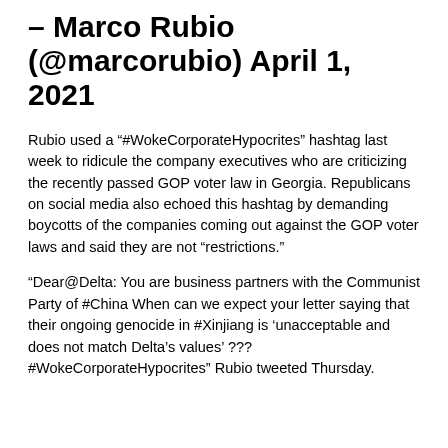– Marco Rubio (@marcorubio) April 1, 2021
Rubio used a “#WokeCorporateHypocrites” hashtag last week to ridicule the company executives who are criticizing the recently passed GOP voter law in Georgia. Republicans on social media also echoed this hashtag by demanding boycotts of the companies coming out against the GOP voter laws and said they are not “restrictions.”
“Dear@Delta: You are business partners with the Communist Party of #China When can we expect your letter saying that their ongoing genocide in #Xinjiang is ‘unacceptable and does not match Delta’s values’ ??? #WokeCorporateHypocrites” Rubio tweeted Thursday.